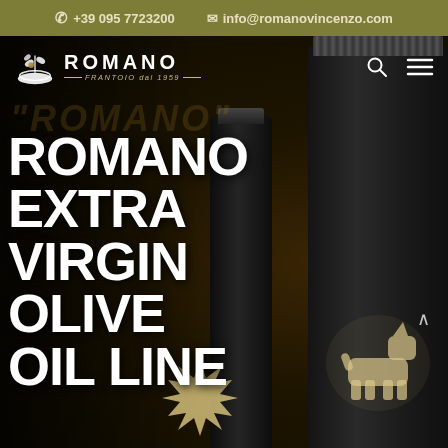+39 095 7723200  info@romanovincenzo.com
[Figure (screenshot): Romano Frantoi dal 1959 olive oil brand website screenshot showing dark hero section with olive oil bottles and bold white text reading ROMANO EXTRA VIRGIN OLIVE OIL LINE]
ROMANO EXTRA VIRGIN OLIVE OIL LINE